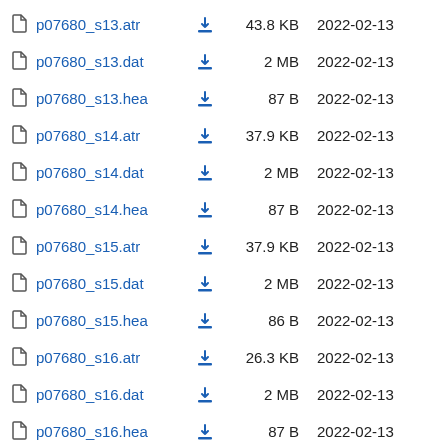p07680_s13.atr  43.8 KB  2022-02-13
p07680_s13.dat  2 MB  2022-02-13
p07680_s13.hea  87 B  2022-02-13
p07680_s14.atr  37.9 KB  2022-02-13
p07680_s14.dat  2 MB  2022-02-13
p07680_s14.hea  87 B  2022-02-13
p07680_s15.atr  37.9 KB  2022-02-13
p07680_s15.dat  2 MB  2022-02-13
p07680_s15.hea  86 B  2022-02-13
p07680_s16.atr  26.3 KB  2022-02-13
p07680_s16.dat  2 MB  2022-02-13
p07680_s16.hea  87 B  2022-02-13
p07680_s17.atr  64.6 KB  2022-02-13
p07680_s17.dat  2 MB  2022-02-13